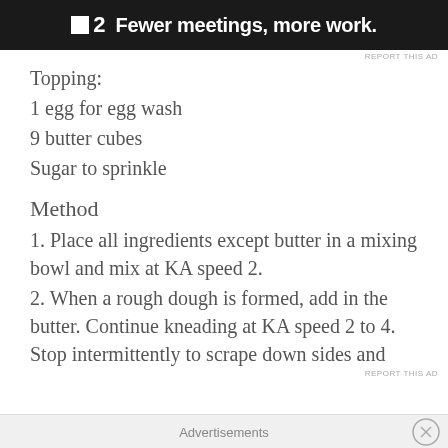[Figure (logo): Advertisement banner: black background with white logo square, number '2', and text 'Fewer meetings, more work.']
REPORT THIS AD
Topping:
1 egg for egg wash
9 butter cubes
Sugar to sprinkle
Method
1. Place all ingredients except butter in a mixing bowl and mix at KA speed 2.
2. When a rough dough is formed, add in the butter. Continue kneading at KA speed 2 to 4. Stop intermittently to scrape down sides and
Advertisements
REPORT THIS AD